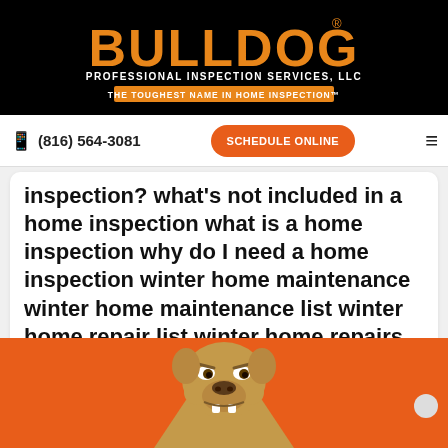[Figure (logo): Bulldog Professional Inspection Services LLC logo — orange BULLDOG text with registered trademark, subtitle 'PROFESSIONAL INSPECTION SERVICES, LLC', tagline 'THE TOUGHEST NAME IN HOME INSPECTION' on black background]
(816) 564-3081  SCHEDULE ONLINE
inspection? what's not included in a home inspection what is a home inspection why do I need a home inspection winter home maintenance winter home maintenance list winter home repair list winter home repairs winter home repair tips
[Figure (illustration): Bulldog mascot cartoon illustration on orange background with chat bubble in bottom right]